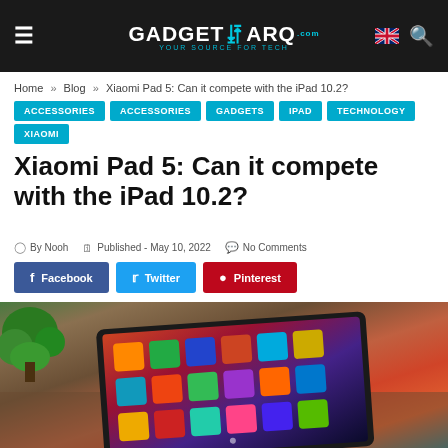GadgetARQ.com — YOUR SOURCE FOR TECH
Home » Blog » Xiaomi Pad 5: Can it compete with the iPad 10.2?
ACCESSORIES
ACCESSORIES
GADGETS
IPAD
TECHNOLOGY
XIAOMI
Xiaomi Pad 5: Can it compete with the iPad 10.2?
By Nooh   Published - May 10, 2022   No Comments
Facebook   Twitter   Pinterest
[Figure (photo): Xiaomi Pad 5 tablet lying on a wooden surface with a colorful home screen display, with a green plant visible in the top left corner]